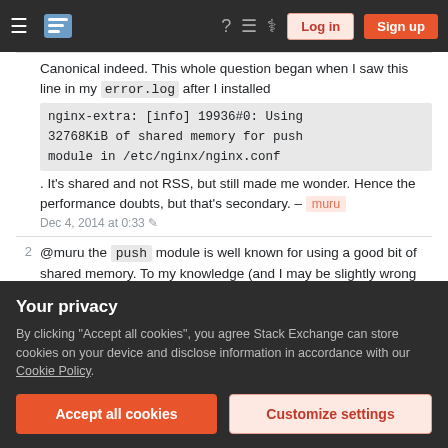Stack Exchange navigation bar with hamburger menu, logo, help, chat, search icons, Log in and Sign up buttons
Canonical indeed. This whole question began when I saw this line in my error.log after I installed nginx-extra: [info] 19936#0: Using 32768KiB of shared memory for push module in /etc/nginx/nginx.conf . It's shared and not RSS, but still made me wonder. Hence the performance doubts, but that's secondary. – muru Dec 4, 2014 at 0:33
@muru the push module is well known for using a good bit of shared memory. To my knowledge (and I may be slightly wrong on this), that shared memory is used across all the sites on the web server where the
Your privacy
By clicking "Accept all cookies", you agree Stack Exchange can store cookies on your device and disclose information in accordance with our Cookie Policy.
Accept all cookies
Customize settings
presumably built from the same source, a patch